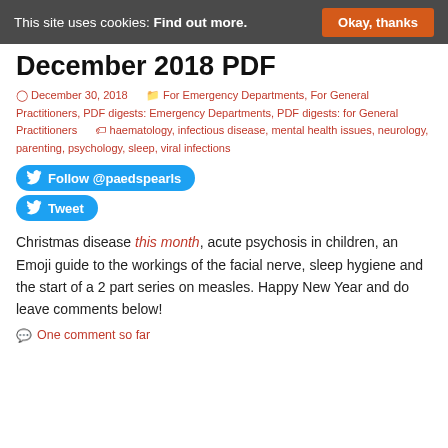This site uses cookies: Find out more. Okay, thanks
December 2018 PDF
December 30, 2018   For Emergency Departments, For General Practitioners, PDF digests: Emergency Departments, PDF digests: for General Practitioners   haematology, infectious disease, mental health issues, neurology, parenting, psychology, sleep, viral infections
[Figure (other): Twitter Follow @paedspearls button and Tweet button]
Christmas disease this month, acute psychosis in children, an Emoji guide to the workings of the facial nerve, sleep hygiene and the start of a 2 part series on measles. Happy New Year and do leave comments below!
One comment so far